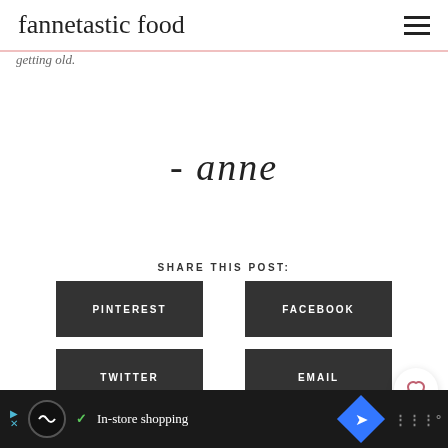fannetastic food
getting old.
[Figure (illustration): Cursive signature reading '- anne']
SHARE THIS POST:
PINTEREST
FACEBOOK
TWITTER
EMAIL
In-store shopping